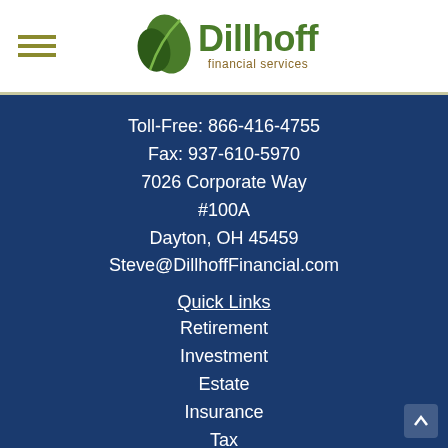[Figure (logo): Dillhoff Financial Services logo with green leaf icon and company name]
Toll-Free: 866-416-4755
Fax: 937-610-5970
7026 Corporate Way
#100A
Dayton, OH 45459
Steve@DillhoffFinancial.com
Quick Links
Retirement
Investment
Estate
Insurance
Tax
Money
Lifestyle